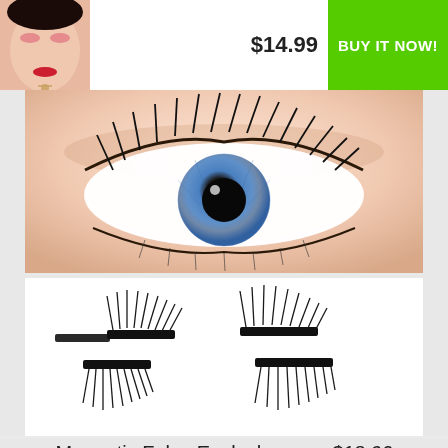[Figure (photo): Thumbnail of Asian woman wearing red lipstick and makeup]
$14.99
BUY IT NOW!
[Figure (photo): Close-up of a blue eye with long dark eyelashes on fair skin]
[Figure (photo): Product photo of four magnetic false eyelash pieces on white background]
Magnetic False Eyelashes  —  $18.90
[Figure (logo): US flag icon currency selector showing USD]
USD
$7.96